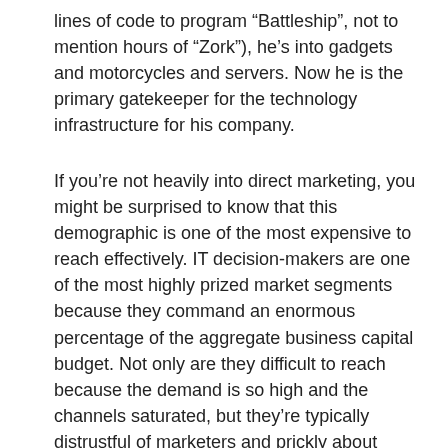lines of code to program "Battleship", not to mention hours of "Zork"), he's into gadgets and motorcycles and servers. Now he is the primary gatekeeper for the technology infrastructure for his company.
If you're not heavily into direct marketing, you might be surprised to know that this demographic is one of the most expensive to reach effectively. IT decision-makers are one of the most highly prized market segments because they command an enormous percentage of the aggregate business capital budget. Not only are they difficult to reach because the demand is so high and the channels saturated, but they're typically distrustful of marketers and prickly about having their privacy breached in any way. It's one of those cosmic allignments that make you wonder about the order of things: a group that hates more than anything to be bothered, smack in the bullseye for people that will stop at nothing to bother them.